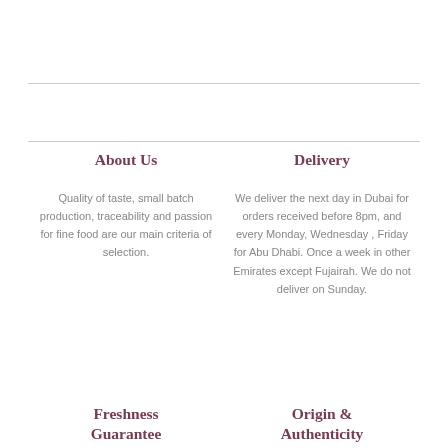About Us
Quality of taste, small batch production, traceability and passion for fine food are our main criteria of selection.
Delivery
We deliver the next day in Dubai for orders received before 8pm, and every Monday, Wednesday , Friday for Abu Dhabi. Once a week in other Emirates except Fujairah. We do not deliver on Sunday.
Freshness Guarantee
Origin & Authenticity